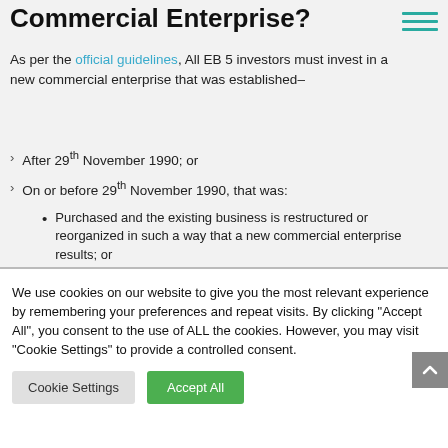Commercial Enterprise?
As per the official guidelines, All EB 5 investors must invest in a new commercial enterprise that was established–
After 29th November 1990; or
On or before 29th November 1990, that was:
Purchased and the existing business is restructured or reorganized in such a way that a new commercial enterprise results; or
Expanded through the investment, resulting in at
We use cookies on our website to give you the most relevant experience by remembering your preferences and repeat visits. By clicking "Accept All", you consent to the use of ALL the cookies. However, you may visit "Cookie Settings" to provide a controlled consent.